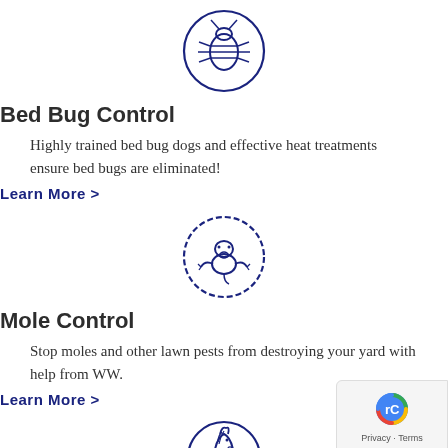[Figure (illustration): Circular icon with a bed bug illustration in dark blue outline style]
Bed Bug Control
Highly trained bed bug dogs and effective heat treatments ensure bed bugs are eliminated!
Learn More >
[Figure (illustration): Circular icon with a mole illustration in dark blue outline style]
Mole Control
Stop moles and other lawn pests from destroying your yard with help from WW.
Learn More >
[Figure (illustration): Partial circular icon with an animal (horse/unicorn) illustration in dark blue outline style, cropped at bottom]